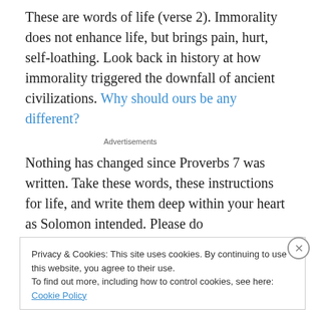These are words of life (verse 2). Immorality does not enhance life, but brings pain, hurt, self-loathing. Look back in history at how immorality triggered the downfall of ancient civilizations. Why should ours be any different?
Advertisements
Nothing has changed since Proverbs 7 was written. Take these words, these instructions for life, and write them deep within your heart as Solomon intended. Please do
Privacy & Cookies: This site uses cookies. By continuing to use this website, you agree to their use. To find out more, including how to control cookies, see here: Cookie Policy
Close and accept